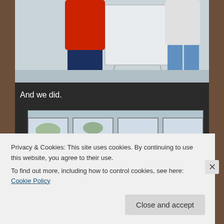[Figure (photo): Two people standing at a whiteboard/flip chart — one in a red hoodie and jeans, one in a white shirt and blue jeans]
And we did.
[Figure (photo): A man with dark hair looking over the edge of a surface, with windows visible in the background]
Privacy & Cookies: This site uses cookies. By continuing to use this website, you agree to their use.
To find out more, including how to control cookies, see here: Cookie Policy
Close and accept